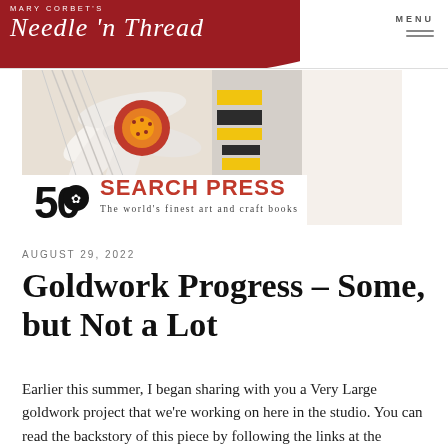MARY CORBET'S Needle 'n Thread
[Figure (illustration): Search Press 50th anniversary banner ad showing embroidery close-up with daisy petals in white thread and colorful center, alongside yellow and black stitching. Search Press logo with text: The world's finest art and craft books]
AUGUST 29, 2022
Goldwork Progress – Some, but Not a Lot
Earlier this summer, I began sharing with you a Very Large goldwork project that we're working on here in the studio. You can read the backstory of this piece by following the links at the